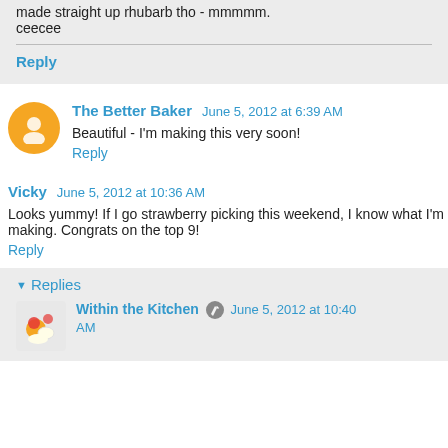made straight up rhubarb tho - mmmmm. ceecee
Reply
The Better Baker  June 5, 2012 at 6:39 AM
Beautiful - I'm making this very soon!
Reply
Vicky  June 5, 2012 at 10:36 AM
Looks yummy! If I go strawberry picking this weekend, I know what I'm making. Congrats on the top 9!
Reply
Replies
Within the Kitchen  June 5, 2012 at 10:40 AM